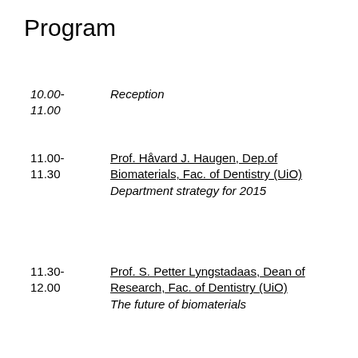Program
10.00-11.00   Reception
11.00-11.30   Prof. Håvard J. Haugen, Dep.of Biomaterials, Fac. of Dentistry (UiO)
Department strategy for 2015
11.30-12.00   Prof. S. Petter Lyngstadaas, Dean of Research, Fac. of Dentistry (UiO)
The future of biomaterials